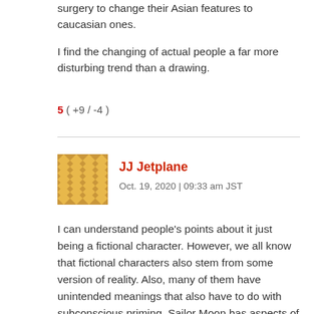surgery to change their Asian features to caucasian ones.
I find the changing of actual people a far more disturbing trend than a drawing.
5 ( +9 / -4 )
[Figure (illustration): User avatar — golden/amber geometric diamond pattern tile]
JJ Jetplane
Oct. 19, 2020 | 09:33 am JST
I can understand people's points about it just being a fictional character. However, we all know that fictional characters also stem from some version of reality. Also, many of them have unintended meanings that also have to do with subconscious priming. Sailor Moon has aspects of it as does cartoons such as Dragon Ball Z. Things such as primed beauty standards are among those reasons. Where as the lead characters and strong characters have "white features." Other common points in Anime is that darker characters tend to be evil and/or criminals. There was a huge shift in anime during the 1980's and it because heavily influenced by western cultures. This is also around the time that such changes began to happen.